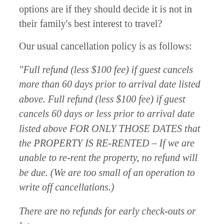options are if they should decide it is not in their family's best interest to travel?
Our usual cancellation policy is as follows:
“Full refund (less $100 fee) if guest cancels more than 60 days prior to arrival date listed above. Full refund (less $100 fee) if guest cancels 60 days or less prior to arrival date listed above FOR ONLY THOSE DATES that the PROPERTY IS RE-RENTED – If we are unable to re-rent the property, no refund will be due. (We are too small of an operation to write off cancellations.)
There are no refunds for early check-outs or late